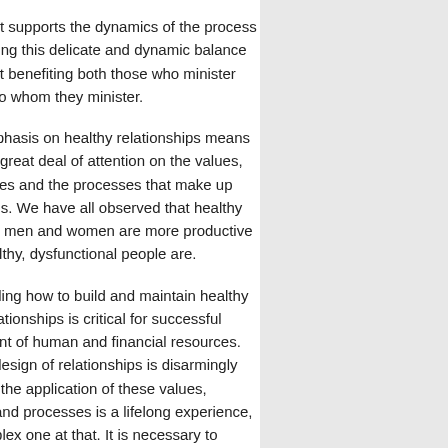seesaw that supports the dynamics of the process of maintaining this delicate and dynamic balance of fulfillment benefiting both those who minister and those to whom they minister.
Putting emphasis on healthy relationships means investing a great deal of attention on the values, the structures and the processes that make up relationships. We have all observed that healthy and fulfilled men and women are more productive than unhealthy, dysfunctional people are.
Understanding how to build and maintain healthy working relationships is critical for successful management of human and financial resources. The basic design of relationships is disarmingly simple. Yet the application of these values, structures and processes is a lifelong experience, and a complex one at that. It is necessary to maintain a focus on the design of relationships in order to succeed at living out the Relationship